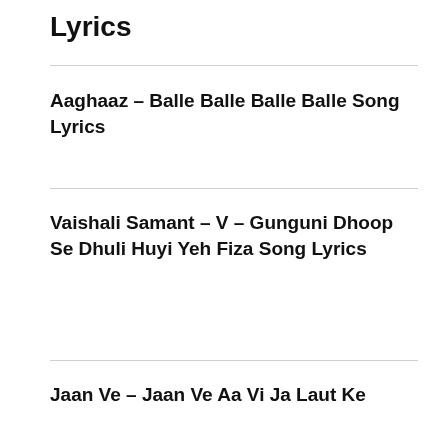Lyrics
Aaghaaz – Balle Balle Balle Balle Song Lyrics
Vaishali Samant – V – Gunguni Dhoop Se Dhuli Huyi Yeh Fiza Song Lyrics
Jaan Ve – Jaan Ve Aa Vi Ja Laut Ke